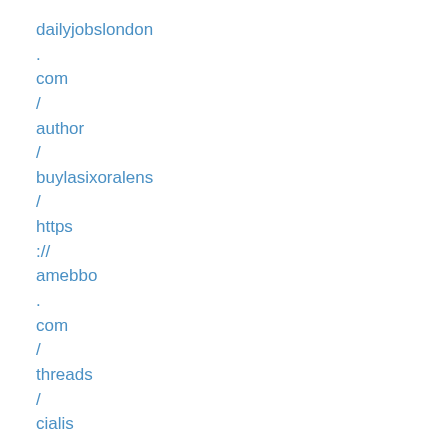dailyjobslondon
.
com
/
author
/
buylasixoralens
/
https
://
amebbo
.
com
/
threads
/
cialis
-
10mg
-
price